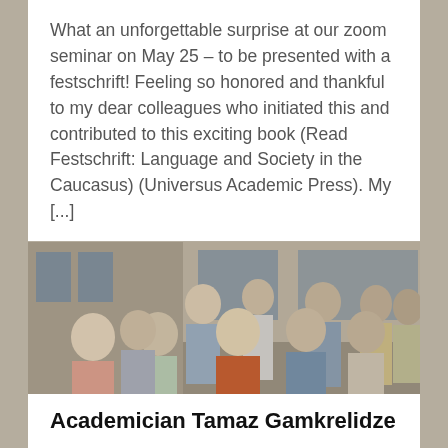What an unforgettable surprise at our zoom seminar on May 25 – to be presented with a festschrift! Feeling so honored and thankful to my dear colleagues who initiated this and contributed to this exciting book (Read Festschrift: Language and Society in the Caucasus) (Universus Academic Press). My [...]
[Figure (photo): Group photo of approximately 12 academics standing together outdoors in front of a building, taken in what appears to be the early 1990s.]
Academician Tamaz Gamkrelidze